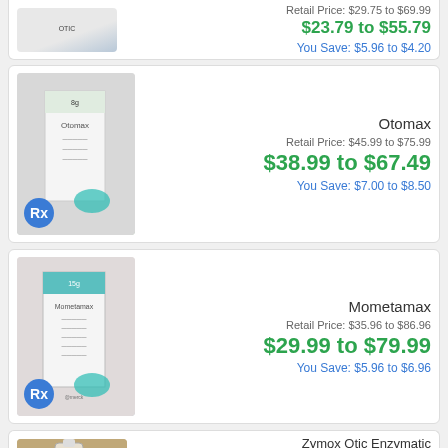[Figure (photo): Otic product bottle photo (partial top card)]
Retail Price: $29.75 to $69.99
$23.79 to $55.79
You Save: $5.96 to $4.20
Otomax
[Figure (photo): Otomax product box with Rx badge]
Retail Price: $45.99 to $75.99
$38.99 to $67.49
You Save: $7.00 to $8.50
Mometamax
[Figure (photo): Mometamax product box with Rx badge]
Retail Price: $35.96 to $86.96
$29.99 to $79.99
You Save: $5.96 to $6.96
Zymox Otic Enzymatic Solution Hydrocortisone Free
[Figure (photo): Zymox Otic bottle photo (partial bottom card)]
Retail Price: $24.16 to $54.99